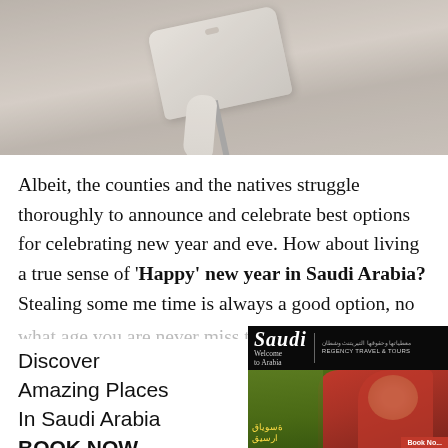[Figure (photo): Top portion of a person carrying a light-colored handbag/luggage, viewed from above on a neutral background]
Albeit, the counties and the natives struggle thoroughly to announce and celebrate best options for celebrating new year and eve. How about living a true sense of 'Happy' new year in Saudi Arabia? Stealing some me time is always a good option, no matter at what age you are never miss the opportunity of giving...
[Figure (photo): Saudi Arabia tourism advertisement showing a girl in traditional red dress/hijab with decorative background. Header shows 'Saudi Welcome to Arabia' logo and 'REGENCY TRAVEL & TOURS'. Bottom has Arabic script and 'Book Now' button.]
Discover Amazing Places In Saudi Arabia
BOOK NOW